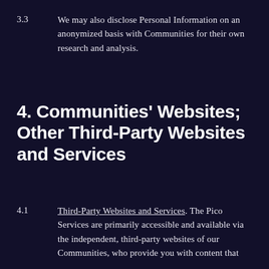3.3   We may also disclose Personal Information on an anonymized basis with Communities for their own research and analysis.
4. Communities' Websites; Other Third-Party Websites and Services
4.1   Third-Party Websites and Services. The Pico Services are primarily accessible and available via the independent, third-party websites of our Communities, who provide you with content that